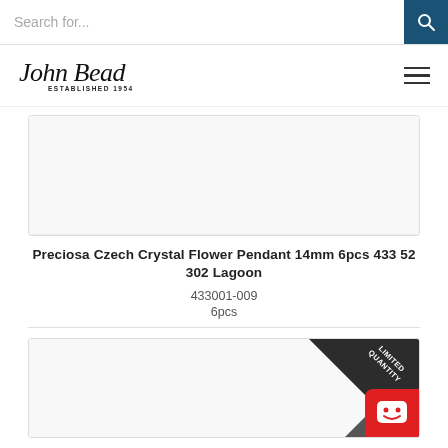Search for...
[Figure (logo): John Bead Established 1954 logo in cursive script]
Preciosa Czech Crystal Flower Pendant 14mm 6pcs 433 52 302 Lagoon
433001-009
6pcs
[Figure (photo): Second product image with LIMITED QUANTITY ribbon banner in top right corner and red chatbot icon in bottom right]